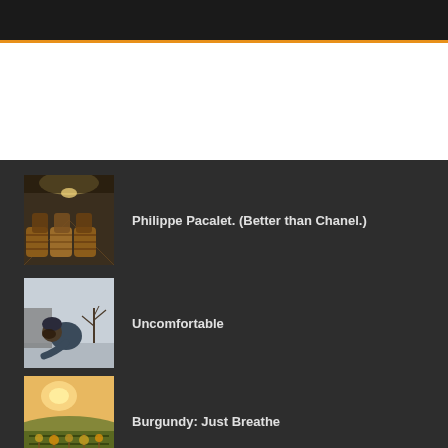Philippe Pacalet. (Better than Chanel.)
Uncomfortable
Burgundy: Just Breathe